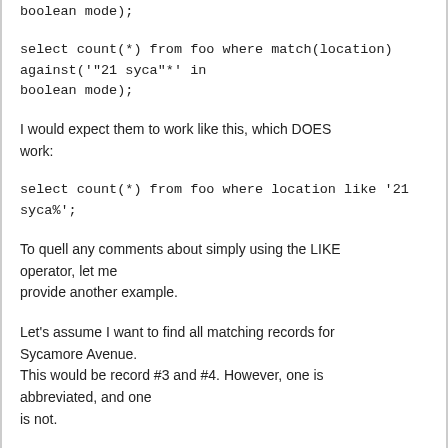boolean mode);
select count(*) from foo where match(location) against('"21 syca"*' in boolean mode);
I would expect them to work like this, which DOES work:
select count(*) from foo where location like '21 syca%';
To quell any comments about simply using the LIKE operator, let me provide another example.
Let's assume I want to find all matching records for Sycamore Avenue. This would be record #3 and #4. However, one is abbreviated, and one is not.